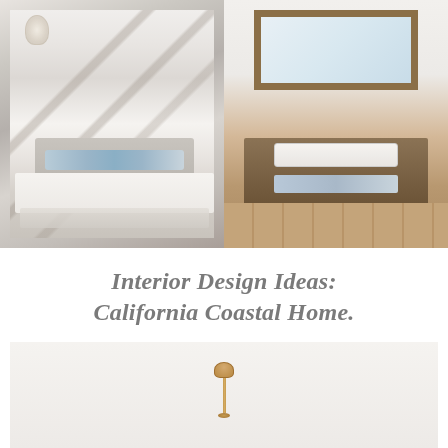[Figure (photo): Two interior design photos side by side: left shows a coastal-style bedroom with exposed wooden ceiling beams, a pendant chandelier, upholstered bed with blue accent pillows, and a plush rug; right shows a farmhouse-style bathroom with a wood-framed mirror, floating wood vanity, vessel sink, and hardwood floors.]
Interior Design Ideas: California Coastal Home.
[Figure (photo): Interior room photo showing a floor lamp with a gold/brass shade and pole, white walls, partial view of a bright coastal room. Text overlay reads 'Beautiful Homes of Instagram'.]